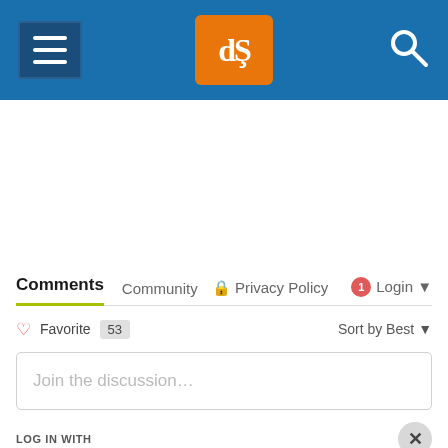dPS site header with hamburger menu, logo (dS), and search icon
[Figure (screenshot): Empty white content/advertisement area below header]
Comments  Community  Privacy Policy  1  Login
❤ Favorite  53  Sort by Best
Join the discussion…
LOG IN WITH
[Figure (other): Partial social login icons (Facebook, Twitter, Google, etc.) at bottom]